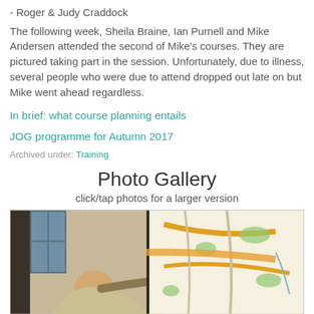- Roger & Judy Craddock
The following week, Sheila Braine, Ian Purnell and Mike Andersen attended the second of Mike's courses. They are pictured taking part in the session. Unfortunately, due to illness, several people who were due to attend dropped out late on but Mike went ahead regardless.
In brief: what course planning entails
JOG programme for Autumn 2017
Archived under: Training
Photo Gallery
click/tap photos for a larger version
[Figure (photo): A person pointing at an orienteering map displayed on a board/screen, viewed from the side. The map shows roads, green areas, and orange sections typical of an orienteering map.]